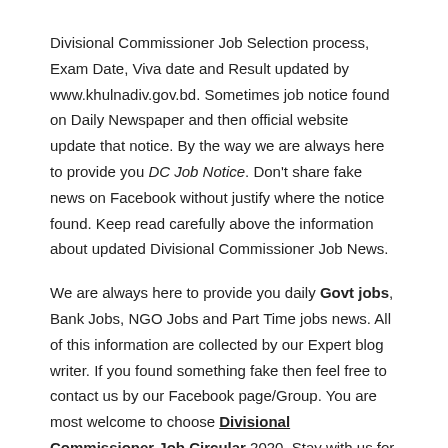Divisional Commissioner Job Selection process, Exam Date, Viva date and Result updated by www.khulnadiv.gov.bd. Sometimes job notice found on Daily Newspaper and then official website update that notice. By the way we are always here to provide you DC Job Notice. Don't share fake news on Facebook without justify where the notice found. Keep read carefully above the information about updated Divisional Commissioner Job News.
We are always here to provide you daily Govt jobs, Bank Jobs, NGO Jobs and Part Time jobs news. All of this information are collected by our Expert blog writer. If you found something fake then feel free to contact us by our Facebook page/Group. You are most welcome to choose Divisional Commissioner Job Circular 2020. Stay with us for Next Updated Job circular. Thanks for support us for searching Job news every day.